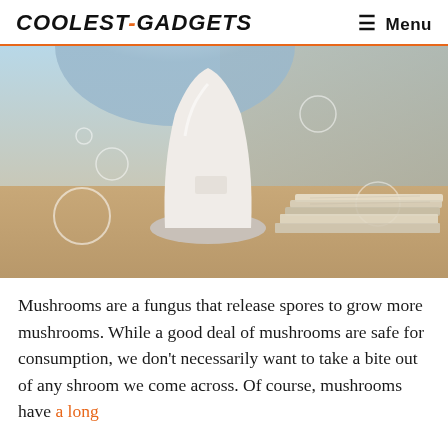COOLEST-GADGETS   ☰ Menu
[Figure (photo): A white teardrop-shaped humidifier or diffuser device sitting on a wooden surface next to a stack of papers/books, with bubble decorations overlaid on the image. Blurred background with light tones.]
Mushrooms are a fungus that release spores to grow more mushrooms. While a good deal of mushrooms are safe for consumption, we don't necessarily want to take a bite out of any shroom we come across. Of course, mushrooms have